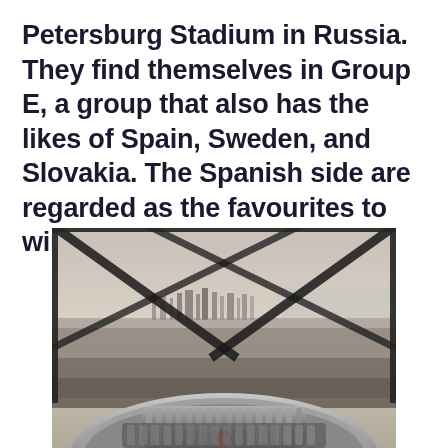Petersburg Stadium in Russia. They find themselves in Group E, a group that also has the likes of Spain, Sweden, and Slovakia. The Spanish side are regarded as the favourites to win the group
[Figure (photo): Aerial city skyline view photographed through diamond-patterned glass panels, with a metallic coin-operated binocular viewer in the foreground bottom portion of the frame. The city is seen in hazy, overcast conditions.]